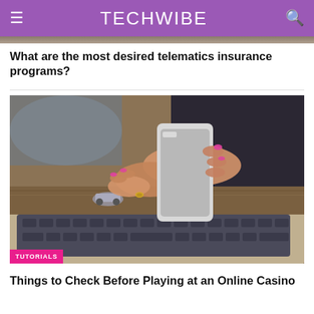TECHWIBE
What are the most desired telematics insurance programs?
[Figure (photo): Person holding a smartphone over a laptop keyboard on a wooden desk, with a small toy car nearby]
TUTORIALS
Things to Check Before Playing at an Online Casino